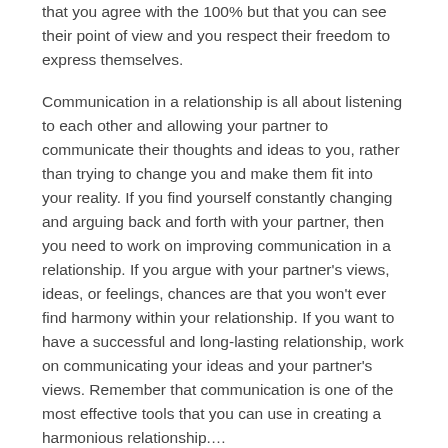that you agree with the 100% but that you can see their point of view and you respect their freedom to express themselves.
Communication in a relationship is all about listening to each other and allowing your partner to communicate their thoughts and ideas to you, rather than trying to change you and make them fit into your reality. If you find yourself constantly changing and arguing back and forth with your partner, then you need to work on improving communication in a relationship. If you argue with your partner's views, ideas, or feelings, chances are that you won't ever find harmony within your relationship. If you want to have a successful and long-lasting relationship, work on communicating your ideas and your partner's views. Remember that communication is one of the most effective tools that you can use in creating a harmonious relationship.…
Read More ›